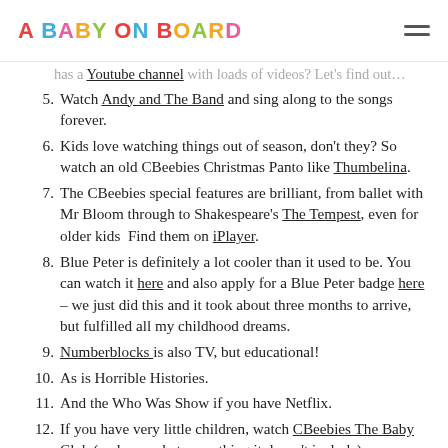A BABY ON BOARD
has a Youtube channel with loads of videos? Let's find out…
5. Watch Andy and The Band and sing along to the songs forever.
6. Kids love watching things out of season, don't they? So watch an old CBeebies Christmas Panto like Thumbelina.
7. The CBeebies special features are brilliant, from ballet with Mr Bloom through to Shakespeare's The Tempest, even for older kids  Find them on iPlayer.
8. Blue Peter is definitely a lot cooler than it used to be. You can watch it here and also apply for a Blue Peter badge here – we just did this and it took about three months to arrive, but fulfilled all my childhood dreams.
9. Numberblocks is also TV, but educational!
10. As is Horrible Histories.
11. And the Who Was Show if you have Netflix.
12. If you have very little children, watch CBeebies The Baby Club (and marvel at everything it doesn't include).